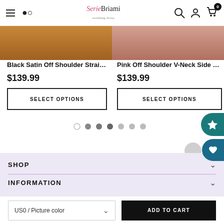Menu | Search | SerieBriami | User | Cart (0)
Black Satin Off Shoulder Straigh...
$139.99
SELECT OPTIONS
Pink Off Shoulder V-Neck Side Sl...
$139.99
SELECT OPTIONS
SHOP
INFORMATION
US0 / Picture color
ADD TO CART